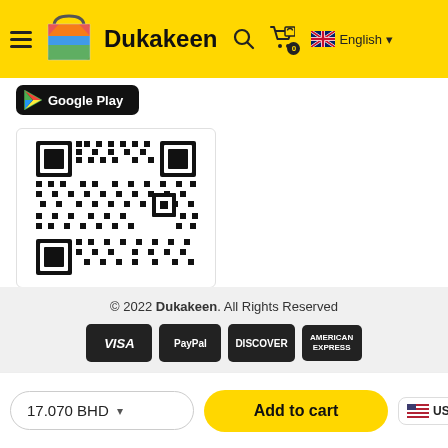Dukakeen — navigation bar with logo, search, cart (0), English language selector
[Figure (logo): Google Play download button]
[Figure (other): QR code for app download]
[Figure (infographic): Social media icons row: Facebook, Twitter, Instagram, Pinterest, YouTube]
© 2022 Dukakeen. All Rights Reserved
[Figure (infographic): Payment method icons: VISA, PayPal, Discover, American Express]
17.070 BHD
Add to cart
USD